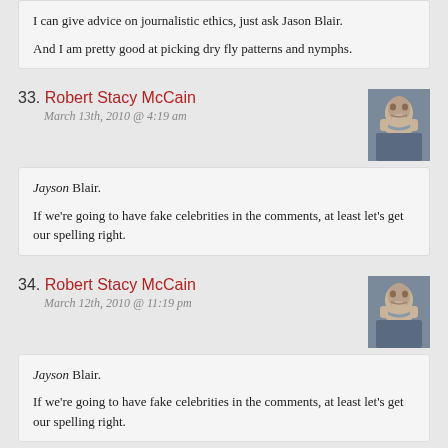I can give advice on journalistic ethics, just ask Jason Blair.
And I am pretty good at picking dry fly patterns and nymphs.
33. Robert Stacy McCain
March 13th, 2010 @ 4:19 am
Jayson Blair.
If we're going to have fake celebrities in the comments, at least let's get our spelling right.
34. Robert Stacy McCain
March 12th, 2010 @ 11:19 pm
Jayson Blair.
If we're going to have fake celebrities in the comments, at least let's get our spelling right.
35. Bob Belvedere
March 13th, 2010 @ 5:34 am